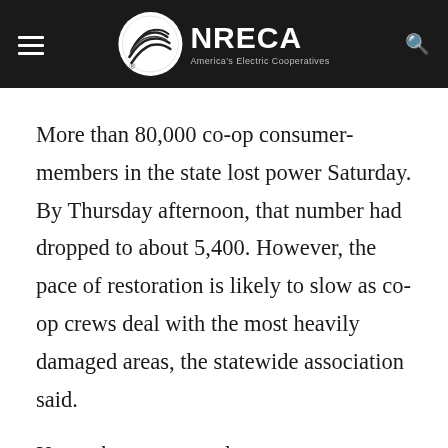NRECA — America's Electric Cooperatives
More than 80,000 co-op consumer-members in the state lost power Saturday. By Thursday afternoon, that number had dropped to about 5,400. However, the pace of restoration is likely to slow as co-op crews deal with the most heavily damaged areas, the statewide association said.
Kentucky co-op employees were among